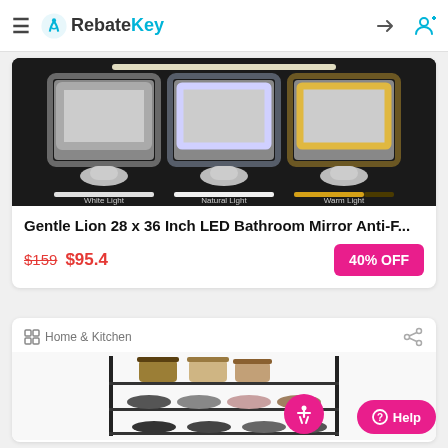RebateKey
[Figure (photo): LED bathroom mirror showing three lighting modes: White Light, Natural Light, and Warm Light, displayed side by side on a dark background.]
Gentle Lion 28 x 36 Inch LED Bathroom Mirror Anti-F...
$159  $95.4  40% OFF
Home & Kitchen
[Figure (photo): A black metal shoe rack/shelf holding bags and shoes on multiple tiers.]